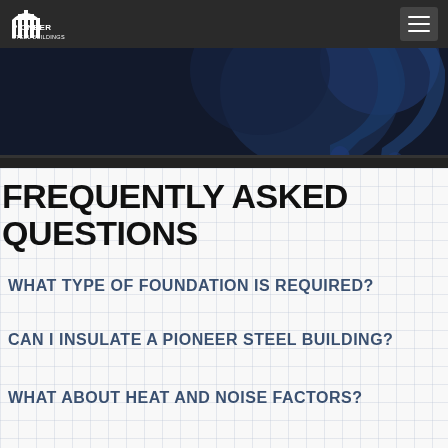[Figure (illustration): Dark navy hero banner with blurred 3D question mark shapes in deep blue tones, serving as page header background]
[Figure (logo): Pioneer Steel Buildings logo - white building/cityscape icon above text PIONEER STEEL BUILDINGS]
FREQUENTLY ASKED QUESTIONS
WHAT TYPE OF FOUNDATION IS REQUIRED?
CAN I INSULATE A PIONEER STEEL BUILDING?
WHAT ABOUT HEAT AND NOISE FACTORS?